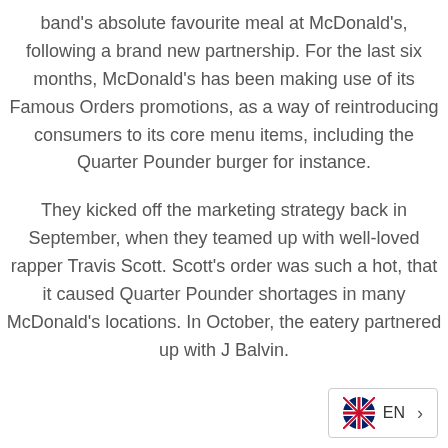band's absolute favourite meal at McDonald's, following a brand new partnership. For the last six months, McDonald's has been making use of its Famous Orders promotions, as a way of reintroducing consumers to its core menu items, including the Quarter Pounder burger for instance.

They kicked off the marketing strategy back in September, when they teamed up with well-loved rapper Travis Scott. Scott's order was such a hot, that it caused Quarter Pounder shortages in many McDonald's locations. In October, the eatery partnered up with J Balvin.